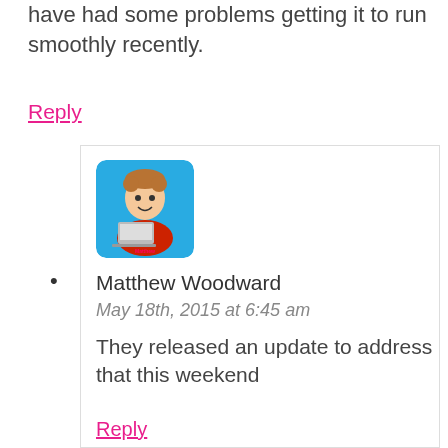have had some problems getting it to run smoothly recently.
Reply
[Figure (illustration): Matthew Woodward cartoon avatar logo with blue background showing animated character with laptop]
Matthew Woodward
May 18th, 2015 at 6:45 am
They released an update to address that this weekend
Reply
[Figure (photo): Photo of Timothy Rooksa, a man in a white shirt outdoors]
Timothy Rookso